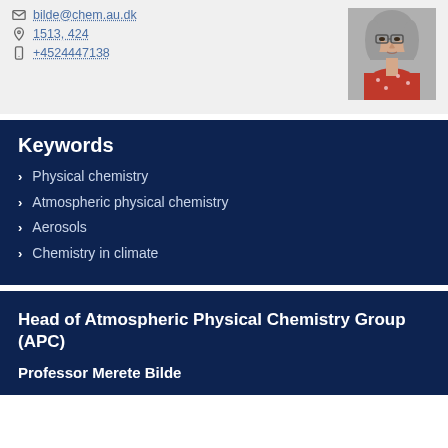bilde@chem.au.dk
1513, 424
+4524447138
[Figure (photo): Portrait photo of a woman with glasses and grey hair, wearing a red floral blouse]
Keywords
Physical chemistry
Atmospheric physical chemistry
Aerosols
Chemistry in climate
Head of Atmospheric Physical Chemistry Group (APC)
Professor Merete Bilde